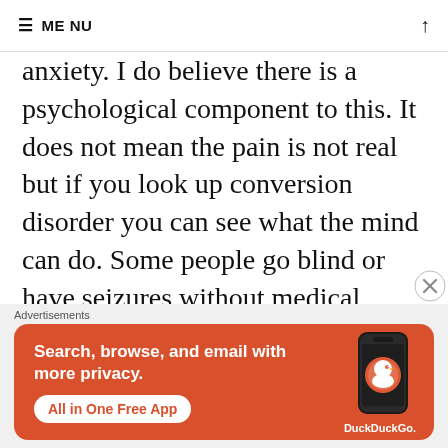≡ MENU
anxiety. I do believe there is a psychological component to this. It does not mean the pain is not real but if you look up conversion disorder you can see what the mind can do. Some people go blind or have seizures without medical explanation. I find Xanax helped mine. Plus CBT. Working on my anxiety and the way it converts into physical
Advertisements
[Figure (screenshot): DuckDuckGo advertisement banner with orange background. Text reads: Search, browse, and email with more privacy. All in One Free App. DuckDuckGo logo and phone image on right side.]